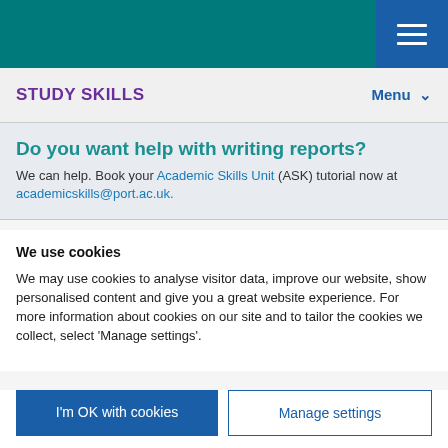STUDY SKILLS | Menu
Do you want help with writing reports?
We can help. Book your Academic Skills Unit (ASK) tutorial now at academicskills@port.ac.uk.
We use cookies
We may use cookies to analyse visitor data, improve our website, show personalised content and give you a great website experience. For more information about cookies on our site and to tailor the cookies we collect, select 'Manage settings'.
I'm OK with cookies | Manage settings